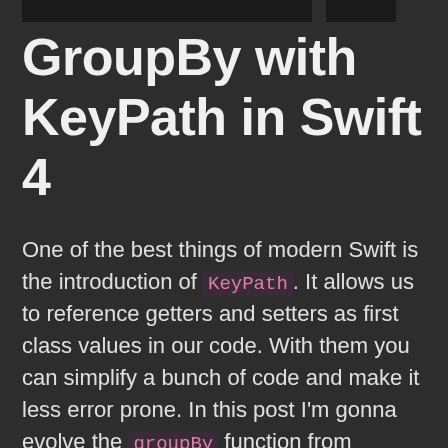GroupBy with KeyPath in Swift 4
One of the best things of modern Swift is the introduction of KeyPath. It allows us to reference getters and setters as first class values in our code. With them you can simplify a bunch of code and make it less error prone. In this post I'm gonna evolve the groupBy function from GroupBy in Swift 2.0 to use this new functionality.